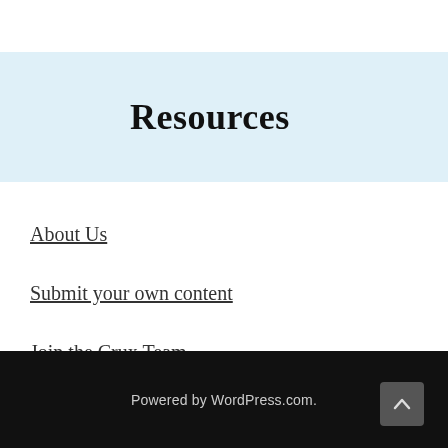Resources
About Us
Submit your own content
Join the Crux Team
Clarkive
Powered by WordPress.com.